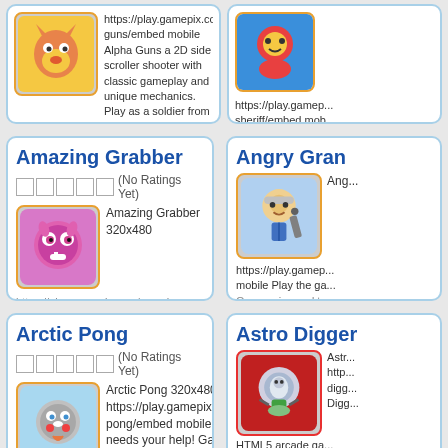[Figure (screenshot): Top partial card left: game image and URL text for Alpha Guns]
[Figure (screenshot): Top partial card right: game image and URL text for sheriff game]
Amazing Grabber
(No Ratings Yet) Amazing Grabber 320x480 https://play.gamepix.com/amazing-grabber/embed mobile Get ready for the goodies bonanza! Tap the screen to help
Angry Gran
https://play.gamep... mobile Play the ga... Gran series and ta...
Arctic Pong
(No Ratings Yet) Arctic Pong 320x480 https://play.gamepix.com/arctic-pong/embed mobile Little seal needs your help! Gather enough coins to free his friends. Be quick and avoid all the hungry polar [...]
Astro Digger
Astro... http... digg... Digg... HTML5 arcade ga... help him wh...